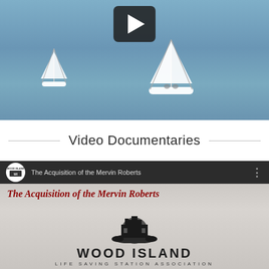[Figure (photo): Top portion of a video player showing sailboats on blue water with a dark play button overlay at the top center]
Video Documentaries
[Figure (screenshot): YouTube video embed showing 'The Acquisition of the Mervin Roberts' with Wood Island Life Saving Station Association logo and a play button overlay]